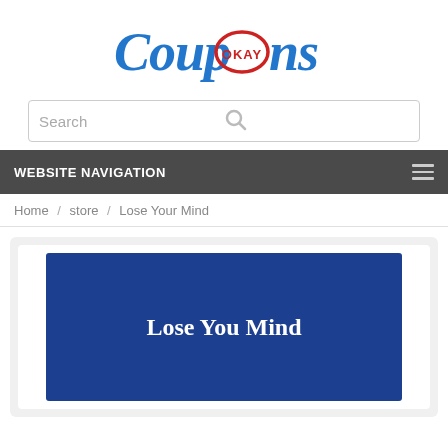[Figure (logo): CouponsOkay logo — stylized blue handwritten text 'Coupons' and 'ns' with a red oval badge containing 'OKAY' in the middle, forming 'CouponsOkay']
[Figure (screenshot): Search bar with placeholder text 'Search' and a magnifying glass icon on the right]
WEBSITE NAVIGATION
Home / store / Lose Your Mind
[Figure (illustration): Product store image: dark blue rectangle with bold white serif text reading 'Lose You Mind']